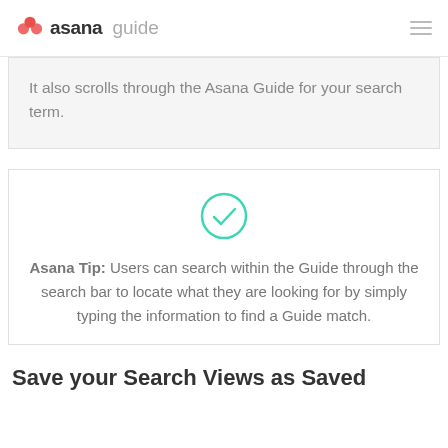asana guide
It also scrolls through the Asana Guide for your search term.
[Figure (illustration): Teal checkmark circle icon]
Asana Tip: Users can search within the Guide through the search bar to locate what they are looking for by simply typing the information to find a Guide match.
Save your Search Views as Saved